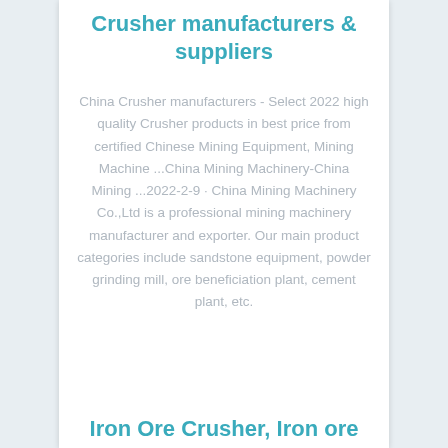Crusher manufacturers & suppliers
China Crusher manufacturers - Select 2022 high quality Crusher products in best price from certified Chinese Mining Equipment, Mining Machine ...China Mining Machinery-China Mining ...2022-2-9 · China Mining Machinery Co.,Ltd is a professional mining machinery manufacturer and exporter. Our main product categories include sandstone equipment, powder grinding mill, ore beneficiation plant, cement plant, etc.
Iron Ore Crusher, Iron ore